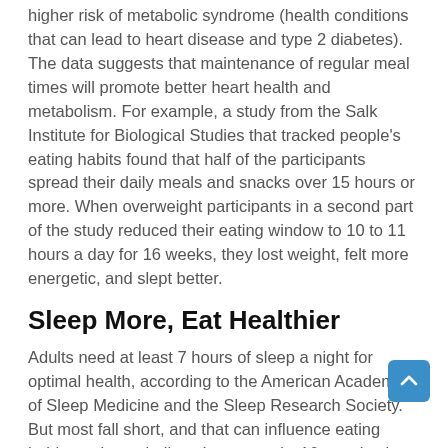higher risk of metabolic syndrome (health conditions that can lead to heart disease and type 2 diabetes). The data suggests that maintenance of regular meal times will promote better heart health and metabolism. For example, a study from the Salk Institute for Biological Studies that tracked people's eating habits found that half of the participants spread their daily meals and snacks over 15 hours or more. When overweight participants in a second part of the study reduced their eating window to 10 to 11 hours a day for 16 weeks, they lost weight, felt more energetic, and slept better.
Sleep More, Eat Healthier
Adults need at least 7 hours of sleep a night for optimal health, according to the American Academy of Sleep Medicine and the Sleep Research Society. But most fall short, and that can influence eating habits and metabolism. In one study, 16 people slept for 9 hours a night for five days (to simulate the workweek), then switched to 5 hours a night for five days. Sleeping just 5 hours disrupted their circadian rhythm, which led them to take in excess calories, gain weight, and experience an almost 30 percent drop in insulin sensitivity. Insufficient sleep seems to prompt evening eating. And it's those calories that seem to account for the [resulting]